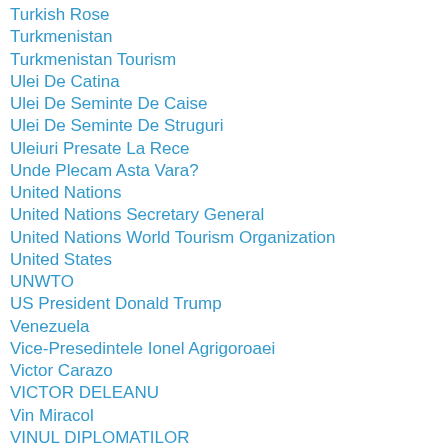Turkish Rose
Turkmenistan
Turkmenistan Tourism
Ulei De Catina
Ulei De Seminte De Caise
Ulei De Seminte De Struguri
Uleiuri Presate La Rece
Unde Plecam Asta Vara?
United Nations
United Nations Secretary General
United Nations World Tourism Organization
United States
UNWTO
US President Donald Trump
Venezuela
Vice-Presedintele Ionel Agrigoroaei
Victor Carazo
VICTOR DELEANU
Vin Miracol
VINUL DIPLOMATILOR
Virurile Coronaviurs Place De Placement Sorin Rosca...